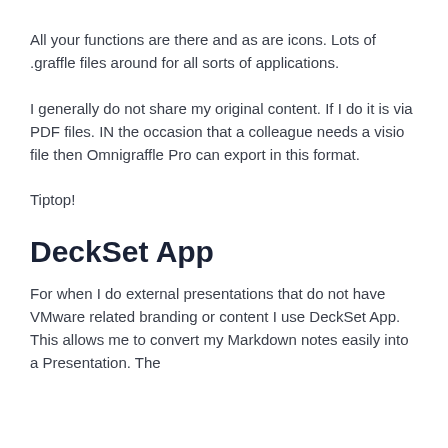All your functions are there and as are icons. Lots of .graffle files around for all sorts of applications.
I generally do not share my original content. If I do it is via PDF files. IN the occasion that a colleague needs a visio file then Omnigraffle Pro can export in this format.
Tiptop!
DeckSet App
For when I do external presentations that do not have VMware related branding or content I use DeckSet App. This allows me to convert my Markdown notes easily into a Presentation. The